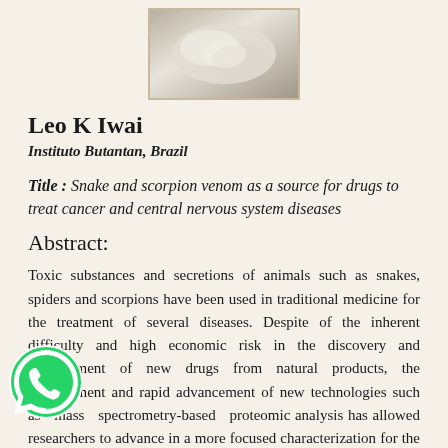[Figure (photo): Photo of a snake or scorpion specimen, partially visible at top of page]
Leo K Iwai
Instituto Butantan, Brazil
Title : Snake and scorpion venom as a source for drugs to treat cancer and central nervous system diseases
Abstract:
Toxic substances and secretions of animals such as snakes, spiders and scorpions have been used in traditional medicine for the treatment of several diseases. Despite of the inherent difficulty and high economic risk in the discovery and development of new drugs from natural products, the development and rapid advancement of new technologies such as mass spectrometry-based proteomic analysis has allowed researchers to advance in a more focused characterization for the determination of key molecular targets in